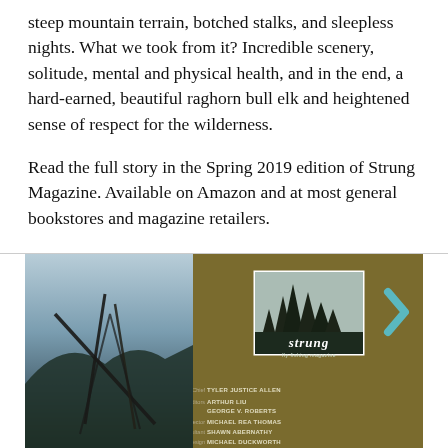steep mountain terrain, botched stalks, and sleepless nights. What we took from it? Incredible scenery, solitude, mental and physical health, and in the end, a hard-earned, beautiful raghorn bull elk and heightened sense of respect for the wilderness.
Read the full story in the Spring 2019 edition of Strung Magazine. Available on Amazon and at most general bookstores and magazine retailers.
[Figure (photo): Magazine back cover or promotional image for Strung Magazine. Left half shows an outdoor photo with a tent/tipi silhouette against a moody sky with mountains. Right half is an olive/brown background featuring the Strung magazine logo (white-bordered box with dark tree silhouettes and 'strung' text in white italic), a teal chevron arrow in the upper right, and small print credits listing Editor-in-Chief Tyler Justice Allen, Managing Editors Arthur Liu and George V. Roberts, Creative Director Michael Rea Thomas, Creative Consultant Shawn Abernathy, Digital Media Design Michael Duckworth.]